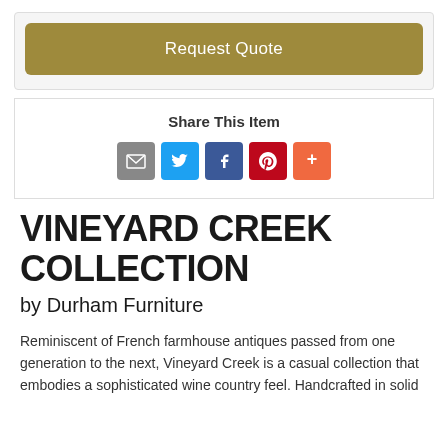Request Quote
Share This Item
[Figure (infographic): Social sharing icons: email (gray), Twitter (blue), Facebook (dark blue), Pinterest (red), More (orange-red)]
VINEYARD CREEK COLLECTION
by Durham Furniture
Reminiscent of French farmhouse antiques passed from one generation to the next, Vineyard Creek is a casual collection that embodies a sophisticated wine country feel. Handcrafted in solid